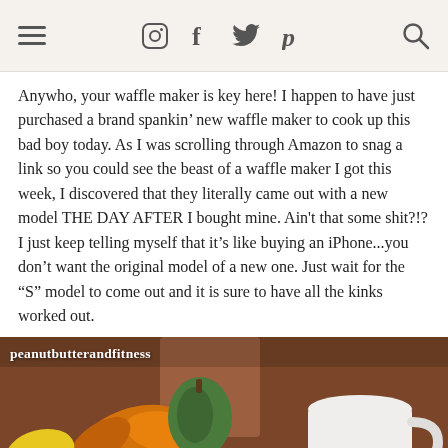Navigation bar with hamburger menu, Instagram, Facebook, Twitter, Pinterest social icons, and search icon
Anywho, your waffle maker is key here!  I happen to have just purchased a brand spankin' new waffle maker to cook up this bad boy today.  As I was scrolling through Amazon to snag a link so you could see the beast of a waffle maker I got this week, I discovered that they literally came out with a new model THE DAY AFTER I bought mine.  Ain't that some shit?!?  I just keep telling myself that it's like buying an iPhone...you don't want the original model of a new one.  Just wait for the “S” model to come out and it is sure to have all the kinks worked out.
[Figure (photo): Food blog photo showing waffles topped with whipped cream, with a white coffee mug, autumn leaves, and decorative gourds in the background. Watermark reads 'peanutbutterandfitness'.]
Social share bar with Facebook, Twitter, Pinterest, Google+, StumbleUpon, Email, Yummly icons